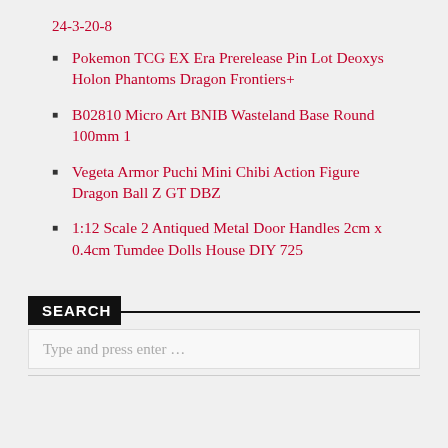24-3-20-8
Pokemon TCG EX Era Prerelease Pin Lot Deoxys Holon Phantoms Dragon Frontiers+
B02810 Micro Art BNIB Wasteland Base Round 100mm 1
Vegeta Armor Puchi Mini Chibi Action Figure Dragon Ball Z GT DBZ
1:12 Scale 2 Antiqued Metal Door Handles 2cm x 0.4cm Tumdee Dolls House DIY 725
SEARCH
Type and press enter …